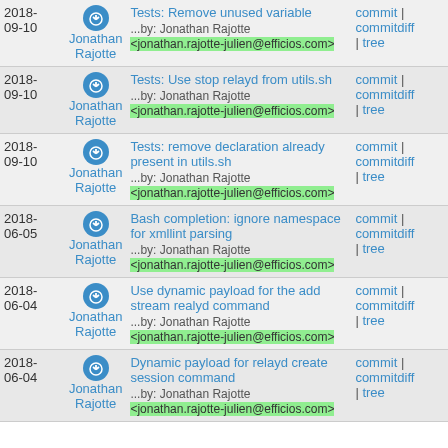| Date | Author | Commit Message | Links |
| --- | --- | --- | --- |
| 2018-09-10 | Jonathan Rajotte | Tests: Remove unused variable ...by: Jonathan Rajotte <jonathan.rajotte-julien@efficios.com> | commit | commitdiff | tree |
| 2018-09-10 | Jonathan Rajotte | Tests: Use stop relayd from utils.sh ...by: Jonathan Rajotte <jonathan.rajotte-julien@efficios.com> | commit | commitdiff | tree |
| 2018-09-10 | Jonathan Rajotte | Tests: remove declaration already present in utils.sh ...by: Jonathan Rajotte <jonathan.rajotte-julien@efficios.com> | commit | commitdiff | tree |
| 2018-06-05 | Jonathan Rajotte | Bash completion: ignore namespace for xmllint parsing ...by: Jonathan Rajotte <jonathan.rajotte-julien@efficios.com> | commit | commitdiff | tree |
| 2018-06-04 | Jonathan Rajotte | Use dynamic payload for the add stream realyd command ...by: Jonathan Rajotte <jonathan.rajotte-julien@efficios.com> | commit | commitdiff | tree |
| 2018-06-04 | Jonathan Rajotte | Dynamic payload for relayd create session command ...by: Jonathan Rajotte <jonathan.rajotte-julien@efficios.com> | commit | commitdiff | tree |